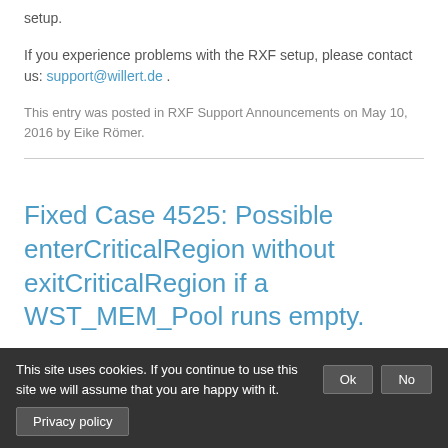setup.
If you experience problems with the RXF setup, please contact us: support@willert.de .
This entry was posted in RXF Support Announcements on May 10, 2016 by Eike Römer.
Fixed Case 4525: Possible enterCriticalRegion without exitCriticalRegion if a WST_MEM_Pool runs empty.
This site uses cookies. If you continue to use this site we will assume that you are happy with it. Ok No Privacy policy